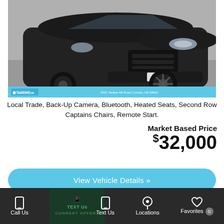[Figure (photo): Black Dodge Durango SUV front 3/4 view in a dealership photo, with Anderson Auto dealer banner at the bottom showing address 3201 Yankee Hill Road | Lincoln, NE 68516]
Local Trade, Back-Up Camera, Bluetooth, Heated Seats, Second Row Captains Chairs, Remote Start.
Market Based Price
$32,000
View Vehicle Details »
Call Us   Text Us   Locations   Favorites 0